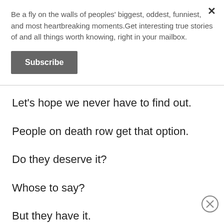Be a fly on the walls of peoples' biggest, oddest, funniest, and most heartbreaking moments.Get interesting true stories of and all things worth knowing, right in your mailbox.
Subscribe
Let's hope we never have to find out.
People on death row get that option.
Do they deserve it?
Whose to say?
But they have it.
A steak. A pizza... Burger King.